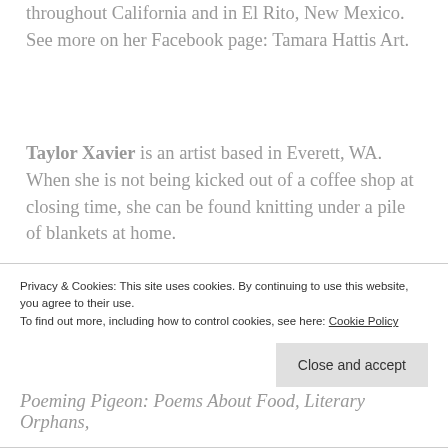throughout California and in El Rito, New Mexico. See more on her Facebook page: Tamara Hattis Art.
Taylor Xavier is an artist based in Everett, WA. When she is not being kicked out of a coffee shop at closing time, she can be found knitting under a pile of blankets at home.
Terri Niccum is a former journalist and special education teacher. She lives in Southern California where she continues to advocate for children with special needs. She was selected as a semi-finalist for
Privacy & Cookies: This site uses cookies. By continuing to use this website, you agree to their use. To find out more, including how to control cookies, see here: Cookie Policy
Poeming Pigeon: Poems About Food, Literary Orphans,